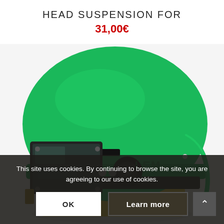HEAD SUSPENSION FOR
31,00€
[Figure (photo): Green hard hat / head suspension safety helmet with a black side-mounted viewing shield/lens attachment and green hose, shown against a white background, with LEMCO branding visible on the helmet.]
This site uses cookies. By continuing to browse the site, you are agreeing to our use of cookies.